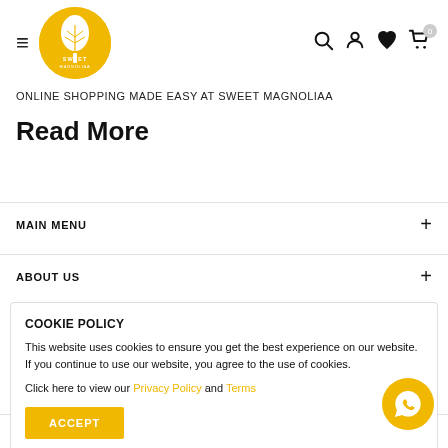[Figure (logo): Sweet Magnoliaa logo - yellow circle with tree and text]
ONLINE SHOPPING MADE EASY AT SWEET MAGNOLIAA
Read More
MAIN MENU
ABOUT US
COOKIE POLICY
This website uses cookies to ensure you get the best experience on our website. If you continue to use our website, you agree to the use of cookies.
Click here to view our Privacy Policy and Terms
ACCEPT
GRIEVANCES